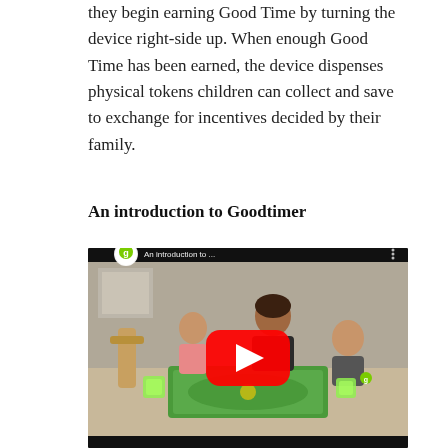they begin earning Good Time by turning the device right-side up. When enough Good Time has been earned, the device dispenses physical tokens children can collect and save to exchange for incentives decided by their family.
An introduction to Goodtimer
[Figure (screenshot): YouTube video thumbnail showing a woman and two children playing a board game at a table. The Goodtimer device with green glow is visible. A YouTube play button overlay is shown. The video title reads 'An introduction to ...' with the green Goodtimer 'g' logo in the top left.]